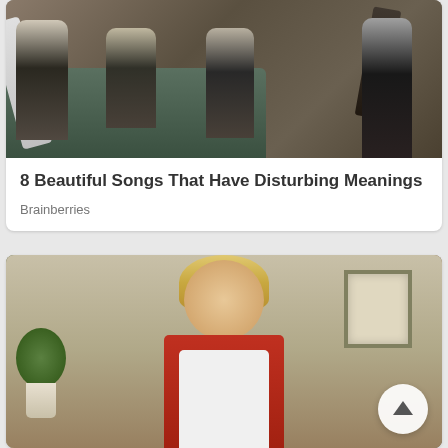[Figure (photo): Photo of a rock band with members holding guitars, sitting on green chairs/couch against a brick wall background]
8 Beautiful Songs That Have Disturbing Meanings
Brainberries
[Figure (photo): Photo of a blond man wearing a red shirt and white apron reading 'NAKED FIRSTU' (partially visible), standing in a restaurant setting with plants and wall art in background]